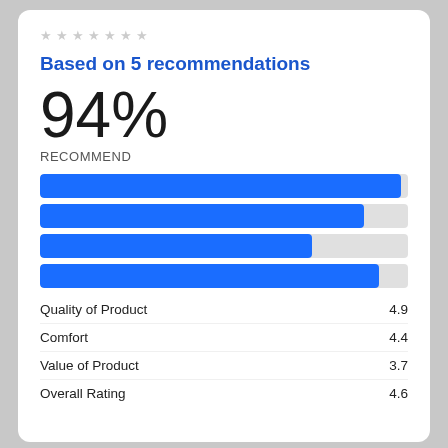Based on 5 recommendations
94%
RECOMMEND
[Figure (bar-chart): Ratings bar chart]
| Category | Score |
| --- | --- |
| Quality of Product | 4.9 |
| Comfort | 4.4 |
| Value of Product | 3.7 |
| Overall Rating | 4.6 |